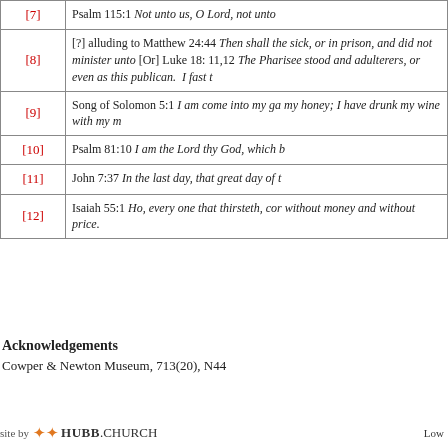| Ref | Text |
| --- | --- |
| [7] | Psalm 115:1 Not unto us, O Lord, not unto |
| [8] | [?] alluding to Matthew 24:44 Then shall the sick, or in prison, and did not minister unto [Or] Luke 18: 11,12 The Pharisee stood and adulterers, or even as this publican.  I fast t |
| [9] | Song of Solomon 5:1 I am come into my ga my honey; I have drunk my wine with my m |
| [10] | Psalm 81:10 I am the Lord thy God, which b |
| [11] | John 7:37 In the last day, that great day of t |
| [12] | Isaiah 55:1 Ho, every one that thirsteth, cor without money and without price. |
Acknowledgements
Cowper & Newton Museum, 713(20), N44
site by HUBB.CHURCH   Low